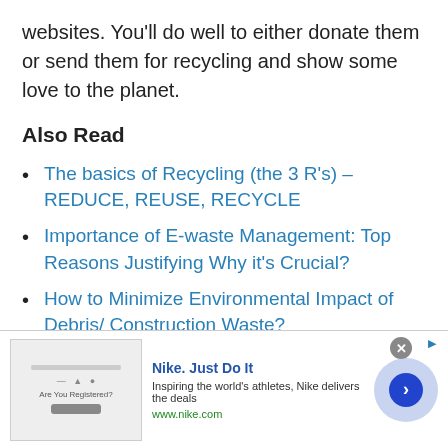websites. You’ll do well to either donate them or send them for recycling and show some love to the planet.
Also Read
The basics of Recycling (the 3 R’s) – REDUCE, REUSE, RECYCLE
Importance of E-waste Management: Top Reasons Justifying Why it’s Crucial?
How to Minimize Environmental Impact of Debris/ Construction Waste?
How to Go Green at Home and Work?
[Figure (screenshot): Advertisement banner for Nike. Just Do It with logo image, text 'Inspiring the world’s athletes, Nike delivers the deals', URL 'www.nike.com', circular arrow button, close button.]